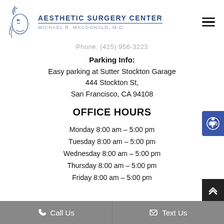AESTHETIC SURGERY CENTER — MICHAEL R. MACDONALD, M.D.
Phone: (415) 956-3223
Parking Info:
Easy parking at Sutter Stockton Garage
444 Stockton St,
San Francisco, CA 94108
OFFICE HOURS
Monday 8:00 am – 5:00 pm
Tuesday 8:00 am – 5:00 pm
Wednesday 8:00 am – 5:00 pm
Thursday 8:00 am – 5:00 pm
Friday 8:00 am – 5:00 pm
Call Us   Text Us